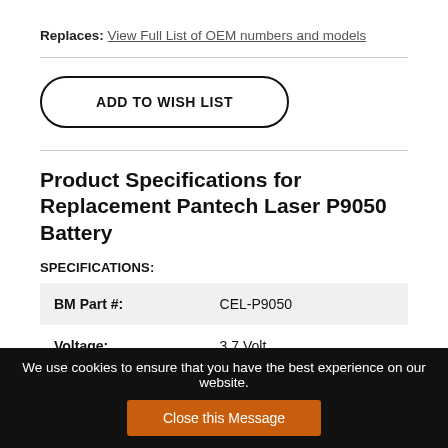Replaces: View Full List of OEM numbers and models
ADD TO WISH LIST
Product Specifications for Replacement Pantech Laser P9050 Battery
SPECIFICATIONS:
|  |  |
| --- | --- |
| BM Part #: | CEL-P9050 |
| Voltage: | 3.7 Volt |
| Capacity: | 780 mAh |
| Type: | Li-Ion |
We use cookies to ensure that you have the best experience on our website.
Close this Message